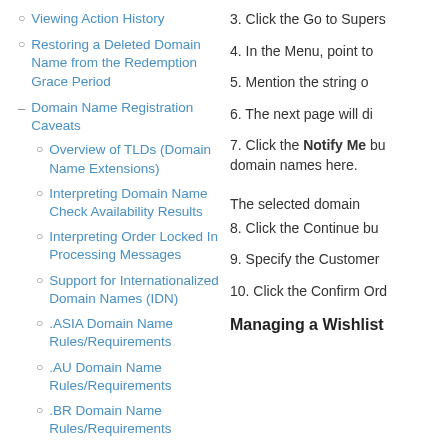Viewing Action History
Restoring a Deleted Domain Name from the Redemption Grace Period
Domain Name Registration Caveats
Overview of TLDs (Domain Name Extensions)
Interpreting Domain Name Check Availability Results
Interpreting Order Locked In Processing Messages
Support for Internationalized Domain Names (IDN)
ASIA Domain Name Rules/Requirements
.AU Domain Name Rules/Requirements
.BR Domain Name Rules/Requirements
3. Click the Go to Supers
4. In the Menu, point to
5. Mention the string o
6. The next page will di
7. Click the Notify Me button domain names here. The selected domain
8. Click the Continue bu
9. Specify the Customer
10. Click the Confirm Ord
Managing a Wishlist